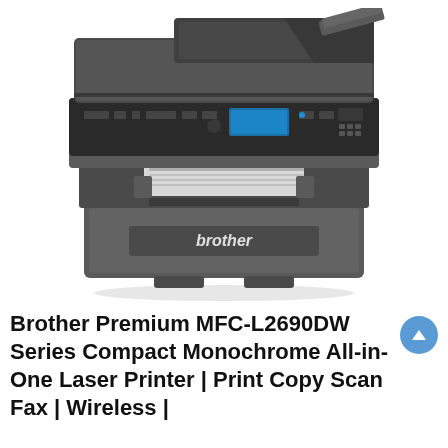[Figure (photo): Product photo of a Brother MFC-L2690DW Series compact monochrome all-in-one laser printer, shown in dark gray/charcoal color with automatic document feeder on top, control panel with display in the middle, paper tray at bottom with 'brother' branding, and output tray visible.]
Brother Premium MFC-L2690DW Series Compact Monochrome All-in-One Laser Printer | Print Copy Scan Fax | Wireless |